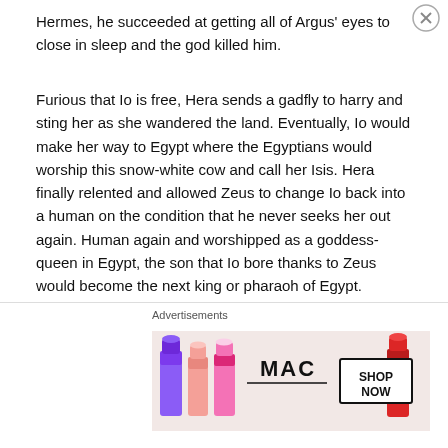Hermes, he succeeded at getting all of Argus' eyes to close in sleep and the god killed him.
Furious that Io is free, Hera sends a gadfly to harry and sting her as she wandered the land. Eventually, Io would make her way to Egypt where the Egyptians would worship this snow-white cow and call her Isis. Hera finally relented and allowed Zeus to change Io back into a human on the condition that he never seeks her out again. Human again and worshipped as a goddess-queen in Egypt, the son that Io bore thanks to Zeus would become the next king or pharaoh of Egypt.
These stories linking Grecian myths with those of Egypt
[Figure (other): MAC Cosmetics advertisement showing colorful lipsticks with SHOP NOW button]